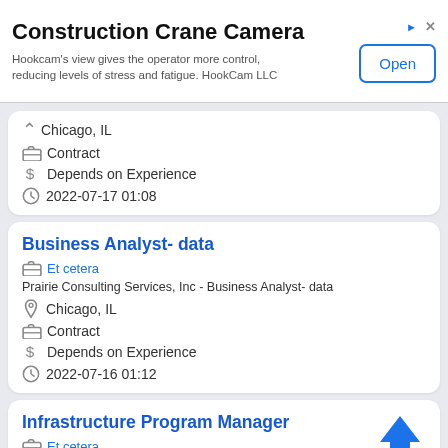[Figure (screenshot): Advertisement banner for Construction Crane Camera app by HookCam LLC with Open button]
Chicago, IL
Contract
Depends on Experience
2022-07-17 01:08
Business Analyst- data
Et cetera
Prairie Consulting Services, Inc - Business Analyst- data
Chicago, IL
Contract
Depends on Experience
2022-07-16 01:12
Infrastructure Program Manager
Et cetera
Prairie Consulting Services, Inc - Infrastructure Program